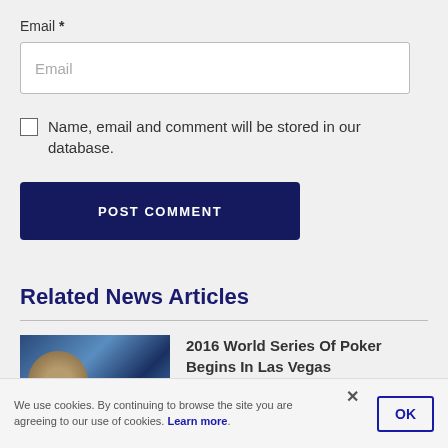Email *
[Figure (other): Email input text field with placeholder text 'Email']
Name, email and comment will be stored in our database.
[Figure (other): POST COMMENT button, dark navy blue background with white uppercase text]
Related News Articles
[Figure (photo): Thumbnail photo for article about 2016 World Series of Poker]
2016 World Series Of Poker Begins In Las Vegas
We use cookies. By continuing to browse the site you are agreeing to our use of cookies. Learn more.